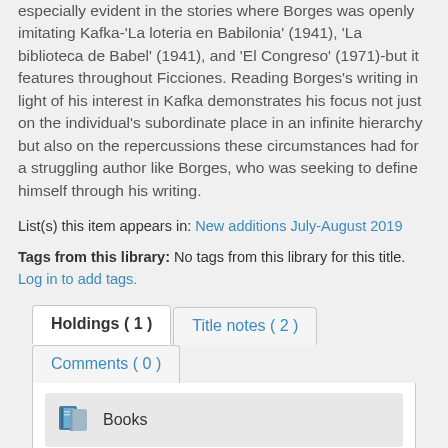especially evident in the stories where Borges was openly imitating Kafka-'La loteria en Babilonia' (1941), 'La biblioteca de Babel' (1941), and 'El Congreso' (1971)-but it features throughout Ficciones. Reading Borges's writing in light of his interest in Kafka demonstrates his focus not just on the individual's subordinate place in an infinite hierarchy but also on the repercussions these circumstances had for a struggling author like Borges, who was seeking to define himself through his writing.
List(s) this item appears in: New additions July-August 2019
Tags from this library: No tags from this library for this title. Log in to add tags.
Holdings ( 1 )  Title notes ( 2 )  Comments ( 0 )
[Figure (other): Books icon - a small blue book icon next to the text 'Books']